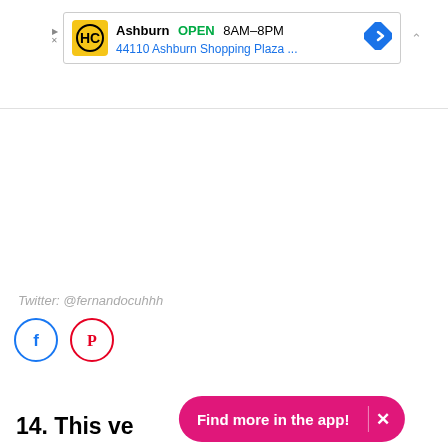[Figure (other): Advertisement banner for HC store in Ashburn, showing OPEN 8AM-8PM, address 44110 Ashburn Shopping Plaza ..., with navigation arrow icon]
Twitter: @fernandocuhhh
[Figure (other): Social media icons: Facebook (blue circle) and Pinterest (red circle)]
14. This ve
[Figure (other): Pink app promotion banner: Find more in the app! with X close button]